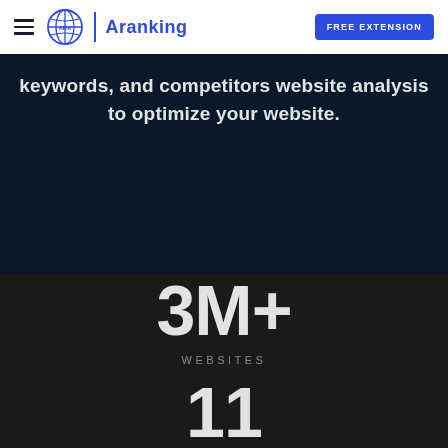Aranking — FREE EXTENSION
keywords, and competitors website analysis to optimize your website.
3M+
WEBSITES
11